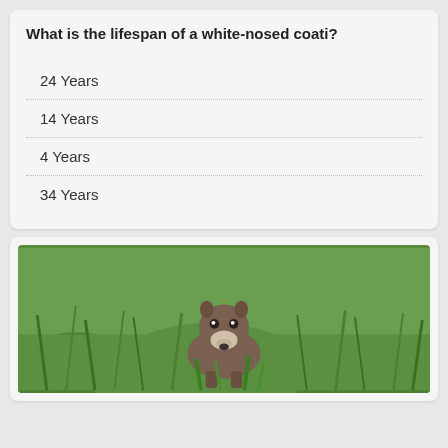What is the lifespan of a white-nosed coati?
24 Years
14 Years
4 Years
34 Years
[Figure (photo): A white-nosed coati standing in green grass, looking toward the camera]